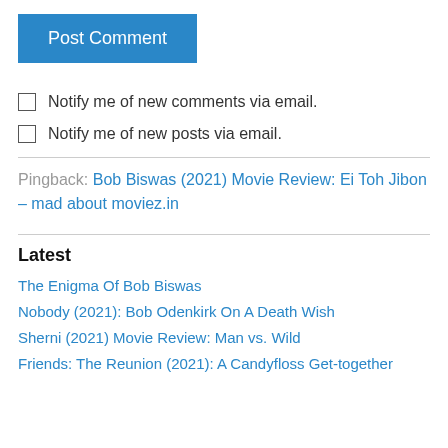Post Comment
Notify me of new comments via email.
Notify me of new posts via email.
Pingback: Bob Biswas (2021) Movie Review: Ei Toh Jibon – mad about moviez.in
Latest
The Enigma Of Bob Biswas
Nobody (2021): Bob Odenkirk On A Death Wish
Sherni (2021) Movie Review: Man vs. Wild
Friends: The Reunion (2021): A Candyfloss Get-together